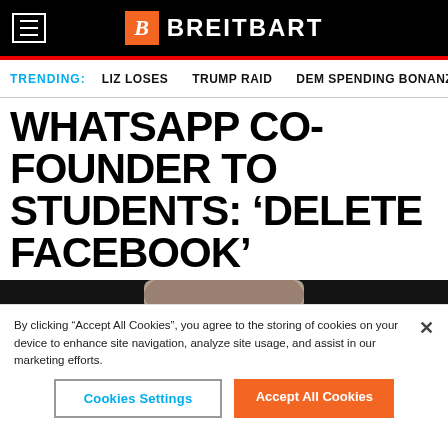BREITBART
TRENDING: LIZ LOSES   TRUMP RAID   DEM SPENDING BONANZA
WHATSAPP CO-FOUNDER TO STUDENTS: ‘DELETE FACEBOOK’
[Figure (photo): Close-up photo of a man's face from the forehead to just below the nose, against a dark background. The subject appears to be Mark Zuckerberg.]
By clicking “Accept All Cookies”, you agree to the storing of cookies on your device to enhance site navigation, analyze site usage, and assist in our marketing efforts.
Cookies Settings   Accept All Cookies